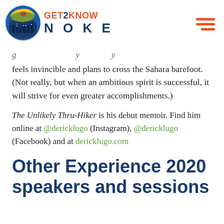GET2KNOW NOKE
feels invincible and plans to cross the Sahara barefoot. (Not really, but when an ambitious spirit is successful, it will strive for even greater accomplishments.)
The Unlikely Thru-Hiker is his debut memoir. Find him online at @dericklugo (Instagram), @dericklugo (Facebook) and at dericklugo.com
Other Experience 2020 speakers and sessions